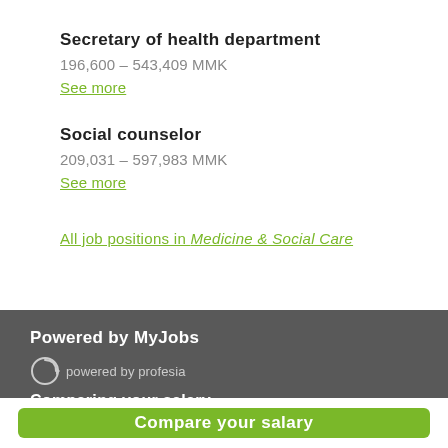Secretary of health department
196,600 – 543,409 MMK
See more
Social counselor
209,031 – 597,983 MMK
See more
All job positions in Medicine & Social Care
Powered by MyJobs
[Figure (logo): powered by profesia logo with circular arrow icon]
Comparing your salary
Compare your salary